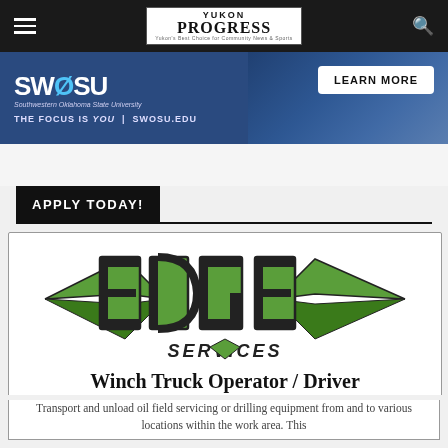Yukon Progress
[Figure (logo): SWOSU Southwestern Oklahoma State University advertisement banner with Learn More button and tagline THE FOCUS IS YOU | SWOSU.EDU]
APPLY TODAY!
[Figure (logo): Edge Services company logo with stylized green and dark letters and wing design]
Winch Truck Operator / Driver
Transport and unload oil field servicing or drilling equipment from and to various locations within the work area. This